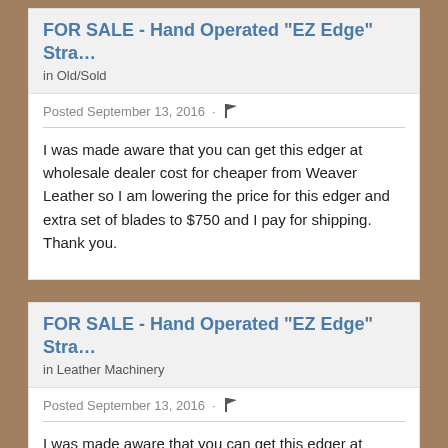FOR SALE - Hand Operated "EZ Edge" Stra…
in Old/Sold
Posted September 13, 2016 · 🚩
I was made aware that you can get this edger at wholesale dealer cost for cheaper from Weaver Leather so I am lowering the price for this edger and extra set of blades to $750 and I pay for shipping.  Thank you.
FOR SALE - Hand Operated "EZ Edge" Stra…
in Leather Machinery
Posted September 13, 2016 · 🚩
I was made aware that you can get this edger at wholesale dealer cost for cheaper from Weaver Leather so I am lowering the price for this edger and extra set of blades to $750 and I pay for shipping.  Thank you.